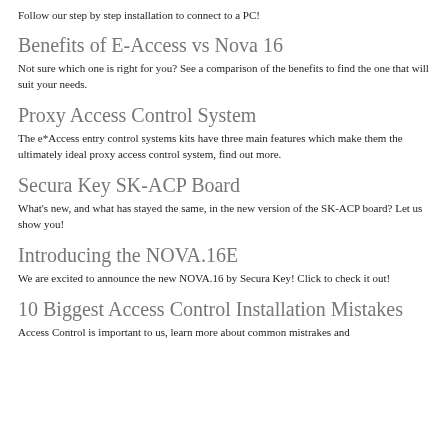Follow our step by step installation to connect to a PC!
Benefits of E-Access vs Nova 16
Not sure which one is right for you? See a comparison of the benefits to find the one that will suit your needs.
Proxy Access Control System
The e*Access entry control systems kits have three main features which make them the ultimately ideal proxy access control system, find out more.
Secura Key SK-ACP Board
What's new, and what has stayed the same, in the new version of the SK-ACP board? Let us show you!
Introducing the NOVA.16E
We are excited to announce the new NOVA.16 by Secura Key! Click to check it out!
10 Biggest Access Control Installation Mistakes
Access Control is important to us, learn more about common mistrakes and